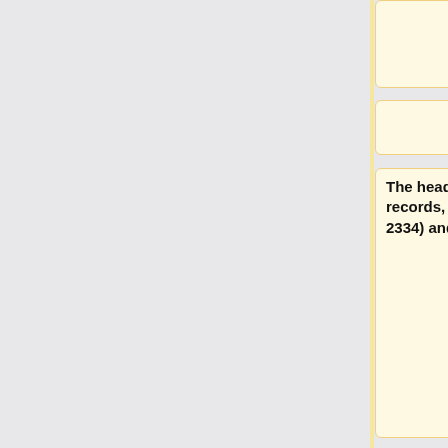changed to "LIG B".
The header information, connect records, ions (atoms 2333 and 2334) and waters were deleted
raw_3pgl.pdb was loaded into Chimera; Tools > Structure Editing > AddH used to add hydrogens to the system. Then add charge using Tools > Structure Editing > Add Charge, be sure to change AMBER ff14SB to AMBER ff99SB. Net charge was